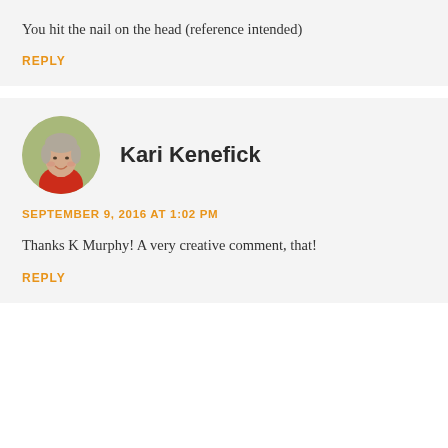You hit the nail on the head (reference intended)
REPLY
[Figure (photo): Circular avatar photo of Kari Kenefick, a woman with grey-streaked hair, wearing a red top, smiling, with a green blurred background.]
Kari Kenefick
SEPTEMBER 9, 2016 AT 1:02 PM
Thanks K Murphy! A very creative comment, that!
REPLY